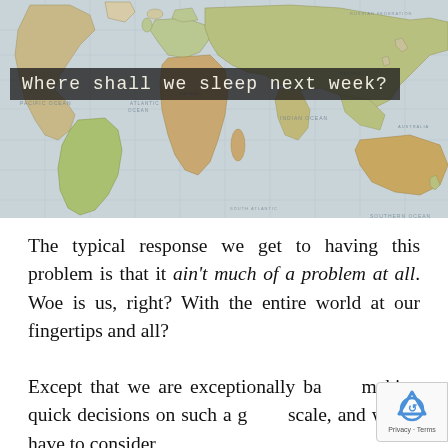[Figure (illustration): A vintage-style world map image with muted earthy tones (greens, tans, soft blues for oceans), showing all continents and oceans with labels. Overlaid on the map is a dark semi-transparent banner with white monospace text reading 'Where shall we sleep next week?']
The typical response we get to having this problem is that it ain't much of a problem at all. Woe is us, right? With the entire world at our fingertips and all?
Except that we are exceptionally bad at making quick decisions on such a grand scale, and we do have to consider our